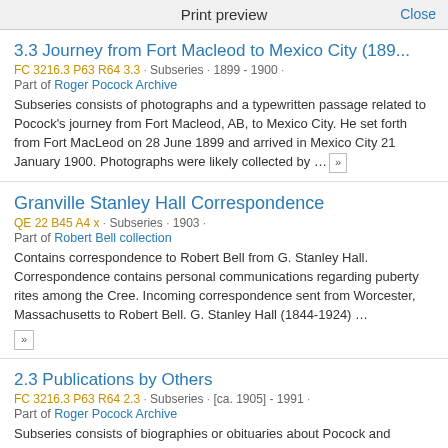Print preview   Close
3.3 Journey from Fort Macleod to Mexico City (189...
FC 3216.3 P63 R64 3.3 · Subseries · 1899 - 1900 ·
Part of Roger Pocock Archive
Subseries consists of photographs and a typewritten passage related to Pocock's journey from Fort Macleod, AB, to Mexico City. He set forth from Fort MacLeod on 28 June 1899 and arrived in Mexico City 21 January 1900. Photographs were likely collected by ... »
Granville Stanley Hall Correspondence
QE 22 B45 A4 x · Subseries · 1903 ·
Part of Robert Bell collection
Contains correspondence to Robert Bell from G. Stanley Hall. Correspondence contains personal communications regarding puberty rites among the Cree. Incoming correspondence sent from Worcester, Massachusetts to Robert Bell. G. Stanley Hall (1844-1924) ... »
2.3 Publications by Others
FC 3216.3 P63 R64 2.3 · Subseries · [ca. 1905] - 1991 ·
Part of Roger Pocock Archive
Subseries consists of biographies or obituaries about Pocock and